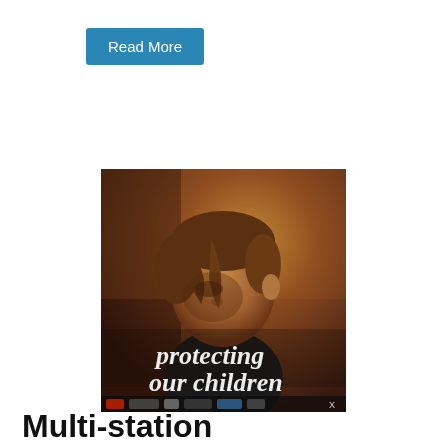Read More
[Figure (photo): A child looking downward with text 'protecting our children' overlaid, along with various broadcast network logos at the bottom.]
Multi-station "Protecting Our